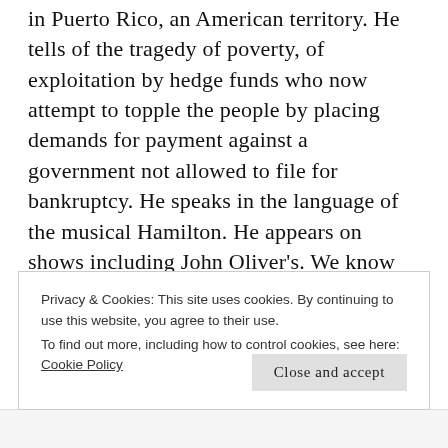in Puerto Rico, an American territory. He tells of the tragedy of poverty, of exploitation by hedge funds who now attempt to topple the people by placing demands for payment against a government not allowed to file for bankruptcy. He speaks in the language of the musical Hamilton. He appears on shows including John Oliver's. We know John Oliver as a man of intelligence and integrity who has a campaign against cigarettes internationally with Dave, a diseased lung. We know him as the exposer of lies and corruption. That he sides with Hamilton in his pursuit for justice for his home gives it credence
Privacy & Cookies: This site uses cookies. By continuing to use this website, you agree to their use.
To find out more, including how to control cookies, see here: Cookie Policy
Close and accept